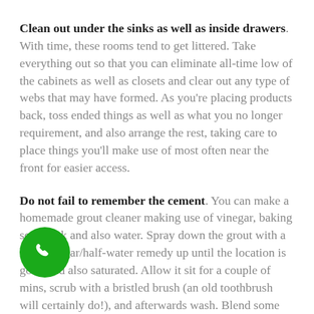Clean out under the sinks as well as inside drawers. With time, these rooms tend to get littered. Take everything out so that you can eliminate all-time low of the cabinets as well as closets and clear out any type of webs that may have formed. As you're placing products back, toss ended things as well as what you no longer requirement, and also arrange the rest, taking care to place things you'll make use of most often near the front for easier access.
Do not fail to remember the cement. You can make a homemade grout cleaner making use of vinegar, baking soft drink and also water. Spray down the grout with a half-vinegar/half-water remedy up until the location is good and also saturated. Allow it sit for a couple of mins, scrub with a bristled brush (an old toothbrush will certainly do!), and afterwards wash. Blend some baking soft drink with water till it develops a paste, use it to the grout using your brush, as well as spray it with the white vinegar as well as vinegar. The bubbles that form will start to clean away some of the grit as well as gunk, and your
[Figure (other): Green circular phone/call button icon in the bottom-left area of the page]